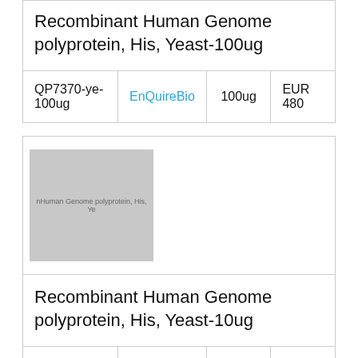Recombinant Human Genome polyprotein, His, Yeast-100ug
| SKU | Vendor | Quantity | Price |
| --- | --- | --- | --- |
| QP7370-ye-100ug | EnQuireBio | 100ug | EUR 480 |
[Figure (photo): Placeholder image for Recombinant Human Genome polyprotein, His, Yeast product]
Recombinant Human Genome polyprotein, His, Yeast-10ug
| SKU | Vendor | Quantity | Price |
| --- | --- | --- | --- |
| QP7370-ye- | EnQuireBio | 10ug | EUR |